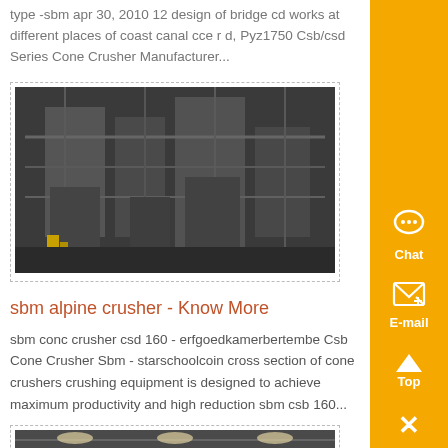type -sbm apr 30, 2010 12 design of bridge cd works at different places of coast canal cce r d, Pyz1750 Csb/csd Series Cone Crusher Manufacturer...
[Figure (photo): Industrial machinery photo showing cone crusher equipment in a large facility, dark/grey tones]
sbm alpine crusher - Know More
sbm conc crusher csd 160 - erfgoedkamerbertembe Csb Cone Crusher Sbm - starschoolcoin cross section of cone crushers crushing equipment is designed to achieve maximum productivity and high reduction sbm csb 160...
[Figure (photo): Industrial interior photo showing what appears to be a warehouse or factory floor with machinery]